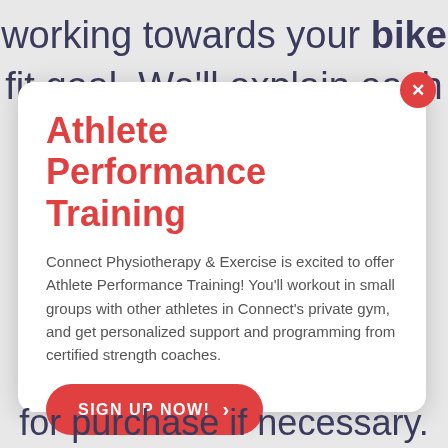working towards your bike fit goal. We'll explain each
Athlete Performance Training
Connect Physiotherapy & Exercise is excited to offer Athlete Performance Training! You'll workout in small groups with other athletes in Connect's private gym, and get personalized support and programming from certified strength coaches.
SIGN UP NOW!  >
for purchase if necessary.